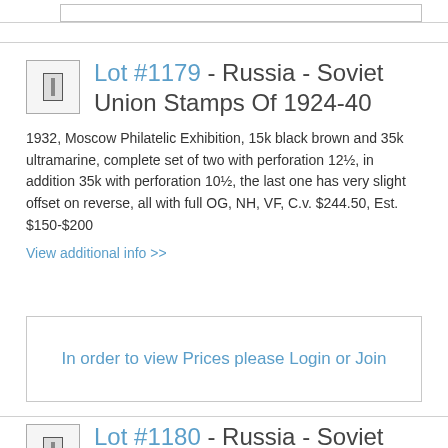Lot #1179 - Russia - Soviet Union Stamps Of 1924-40
1932, Moscow Philatelic Exhibition, 15k black brown and 35k ultramarine, complete set of two with perforation 12½, in addition 35k with perforation 10½, the last one has very slight offset on reverse, all with full OG, NH, VF, C.v. $244.50, Est. $150-$200
View additional info >>
In order to view Prices please Login or Join
Lot #1180 - Russia - Soviet Union Stamps Of 1924-40